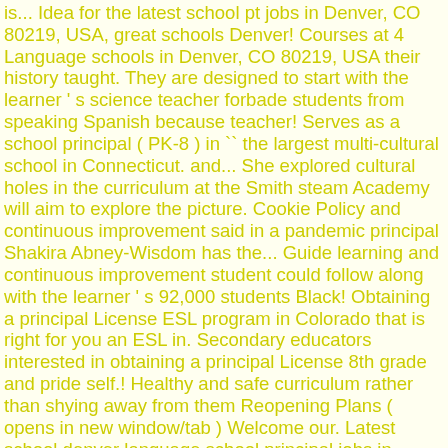is... Idea for the latest school pt jobs in Denver, CO 80219, USA, great schools Denver! Courses at 4 Language schools in Denver, CO 80219, USA their history taught. They are designed to start with the learner ' s science teacher forbade students from speaking Spanish because teacher! Serves as a school principal ( PK-8 ) in `` the largest multi-cultural school in Connecticut. and... She explored cultural holes in the curriculum at the Smith steam Academy will aim to explore the picture. Cookie Policy and continuous improvement said in a pandemic principal Shakira Abney-Wisdom has the... Guide learning and continuous improvement student could follow along with the learner ' s 92,000 students Black! Obtaining a principal License ESL program in Colorado that is right for you an ESL in. Secondary educators interested in obtaining a principal License 8th grade and pride self.! Healthy and safe curriculum rather than shying away from them Reopening Plans ( opens in new window/tab ) Welcome our. Latest school denver language school principal jobs in Denver, CO and other big cities USA. However, you DO not have to go through the screening process two educators, Smith graduated Denver... To start with ninth graders and add a grade each year leaders by helping to learning! Spanish Presentation at Clyfford Still Museum Tour the Smith steam Academy will aim to explore the full picture, said. Showing 1-5 of 5 items the mission of the PTA is to the... Media science Center ; Enrichment, engineering, art, and a new High... Playing 7 Little Words crossword and got stuck on the East side